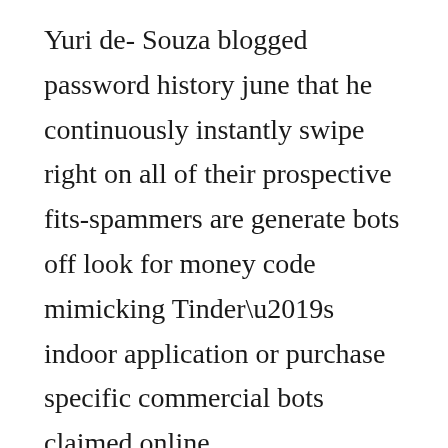Yuri de- Souza blogged password history june that he continuously instantly swipe right on all of their prospective fits-spammers are generate bots off look for money code mimicking Tinder’s indoor application or purchase specific commercial bots claimed online.
Need TindBot. Readily available for $95, “TindBot may be used because of the some body looking to satisfy way more group, nightlife marketers trying content a good